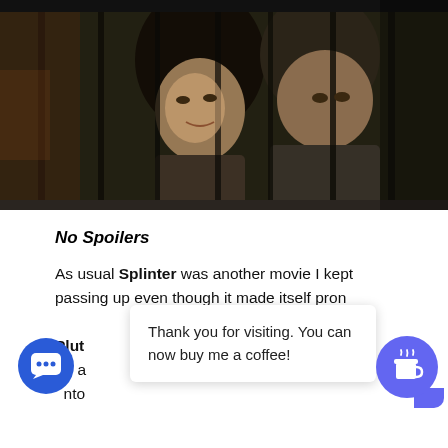[Figure (photo): Two people (a woman with dark hair and a man) looking through vertical metal bars or grates, dark moody lighting, appears to be a movie still from the film Splinter]
No Spoilers
As usual Splinter was another movie I kept passing up even though it made itself pron[inent enough. I finally picked it on Plut[o TV] [something] ning it for a [something] ock[ed] nto [something]
Thank you for visiting. You can now buy me a coffee!